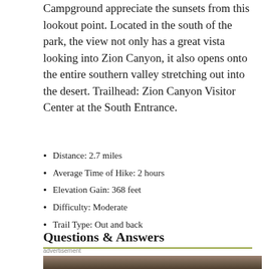Campground appreciate the sunsets from this lookout point. Located in the south of the park, the view not only has a great vista looking into Zion Canyon, it also opens onto the entire southern valley stretching out into the desert. Trailhead: Zion Canyon Visitor Center at the South Entrance.
Distance: 2.7 miles
Average Time of Hike: 2 hours
Elevation Gain: 368 feet
Difficulty: Moderate
Trail Type: Out and back
Questions & Answers
advertisement
[Figure (photo): Photo of a desert road or trail landscape at Zion National Park area, showing a road with muted brown and green desert tones]